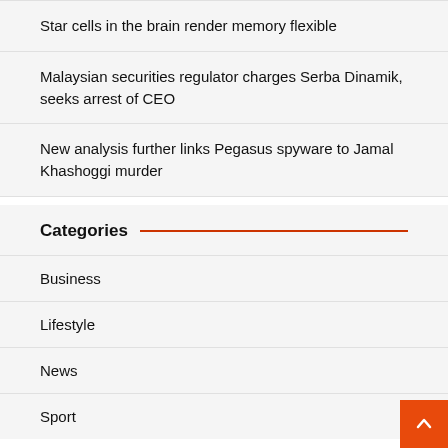Star cells in the brain render memory flexible
Malaysian securities regulator charges Serba Dinamik, seeks arrest of CEO
New analysis further links Pegasus spyware to Jamal Khashoggi murder
Categories
Business
Lifestyle
News
Sport